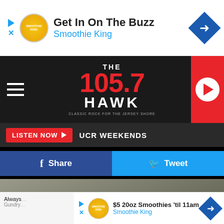[Figure (screenshot): Advertisement banner for Smoothie King with text 'Get In On The Buzz' and 'Smoothie King']
[Figure (logo): 105.7 The Hawk radio station logo with navigation bar and play button]
LISTEN NOW    UCR WEEKENDS
Share    Tweet
[Figure (photo): Background image with overlay text 'DOWNLOAD THE 105.7 THE HAWK MOBILE APP' and red button 'GET OUR FREE MOBILE APP']
Always
Gundry
[Figure (screenshot): Bottom advertisement for Smoothie King: '$5 20oz Smoothies 'til 11am - Smoothie King']